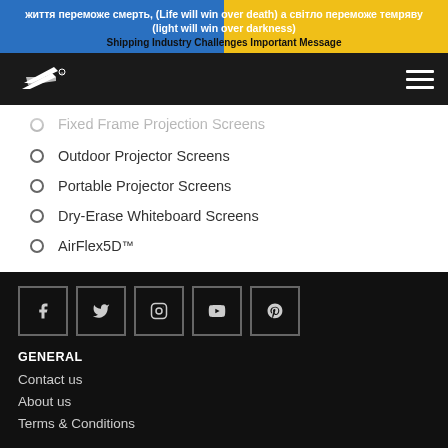життя переможе смерть, (Life will win over death) а світло переможе темряву (light will win over darkness)
Shipping Industry Challenges Important Message
[Figure (logo): Elite Screens stylized logo in white on black background]
Fixed Frame Projection Screens
Outdoor Projector Screens
Portable Projector Screens
Dry-Erase Whiteboard Screens
AirFlex5D™
[Figure (infographic): Social media icons: Facebook, Twitter, Instagram, YouTube, Pinterest in square bordered boxes]
GENERAL
Contact us
About us
Terms & Conditions